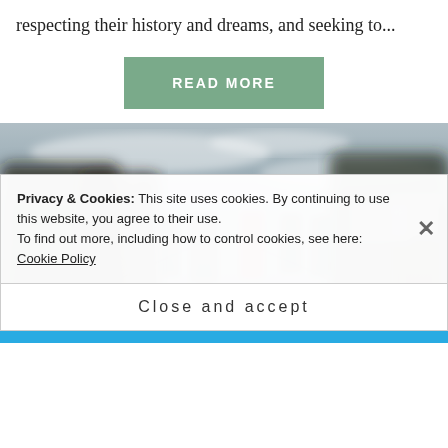respecting their history and dreams, and seeking to...
READ MORE
[Figure (photo): Motion-blur photo of people walking on a bridge or plaza in a city setting]
Privacy & Cookies: This site uses cookies. By continuing to use this website, you agree to their use. To find out more, including how to control cookies, see here: Cookie Policy
Close and accept